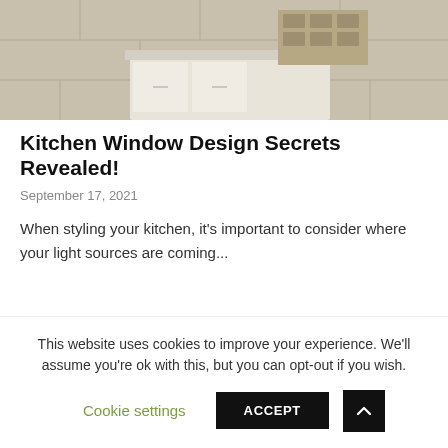[Figure (photo): Kitchen island with cream/white cabinetry featuring wine rack cubby shelves, set against a stone tile floor. Partial view of kitchen interior.]
Kitchen Window Design Secrets Revealed!
September 17, 2021
When styling your kitchen, it's important to consider where your light sources are coming...
This website uses cookies to improve your experience. We'll assume you're ok with this, but you can opt-out if you wish. Cookie settings ACCEPT